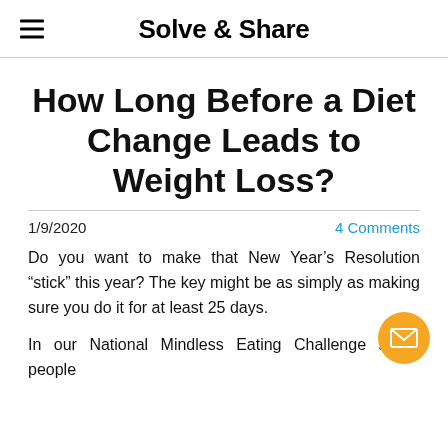Solve & Share
How Long Before a Diet Change Leads to Weight Loss?
1/9/2020
4 Comments
Do you want to make that New Year's Resolution “stick” this year? The key might be as simply as making sure you do it for at least 25 days.
In our National Mindless Eating Challenge study, people